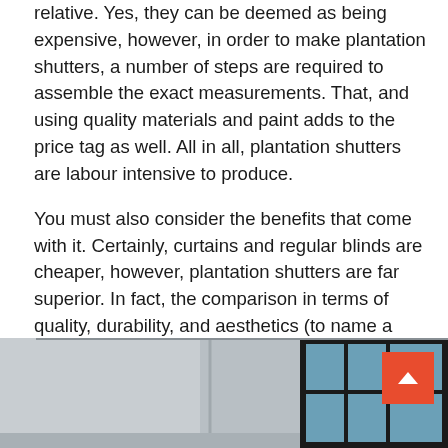relative. Yes, they can be deemed as being expensive, however, in order to make plantation shutters, a number of steps are required to assemble the exact measurements. That, and using quality materials and paint adds to the price tag as well. All in all, plantation shutters are labour intensive to produce.
You must also consider the benefits that come with it. Certainly, curtains and regular blinds are cheaper, however, plantation shutters are far superior. In fact, the comparison in terms of quality, durability, and aesthetics (to name a few) is so far off. Once you’ve experienced plantation shutters you’ll be wondering why you even bothered with curtains or blinds to begin with.
[Figure (photo): Interior room photo showing a corner wall with a black-framed window with blue glass panes visible on the right side. A red scroll-to-top button with a chevron arrow is overlaid in the upper right of the image.]